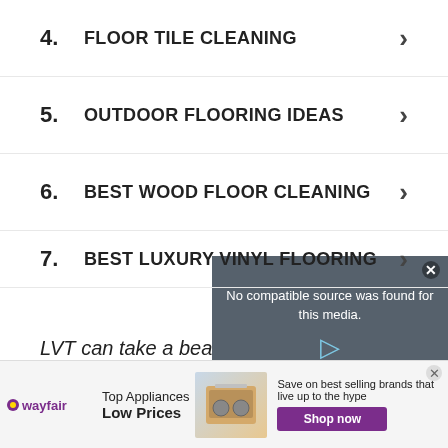4. FLOOR TILE CLEANING
5. OUTDOOR FLOORING IDEAS
6. BEST WOOD FLOOR CLEANING
7. BEST LUXURY VINYL FLOORING
LVT can take a beating and keep on going.
[Figure (screenshot): Video player overlay showing 'No compatible source was found for this media.' message with play button]
[Figure (infographic): Wayfair advertisement banner: Top Appliances Low Prices, Save on best selling brands that live up to the hype, Shop now button]